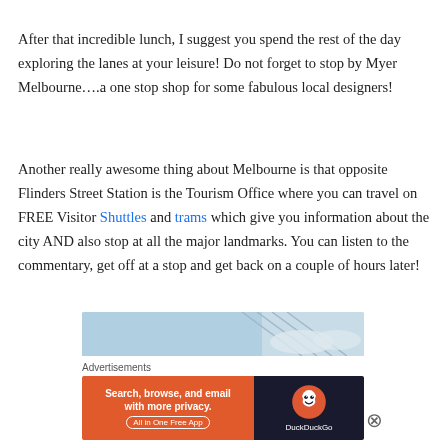After that incredible lunch, I suggest you spend the rest of the day exploring the lanes at your leisure! Do not forget to stop by Myer Melbourne….a one stop shop for some fabulous local designers!
Another really awesome thing about Melbourne is that opposite Flinders Street Station is the Tourism Office where you can travel on FREE Visitor Shuttles and trams which give you information about the city AND also stop at all the major landmarks. You can listen to the commentary, get off at a stop and get back on a couple of hours later!
[Figure (other): Partial advertisement image with light blue background and diagonal lines, partially visible behind ad overlay]
Advertisements
[Figure (other): DuckDuckGo advertisement banner: orange left half reading 'Search, browse, and email with more privacy. All in One Free App', dark right half with DuckDuckGo logo and name]